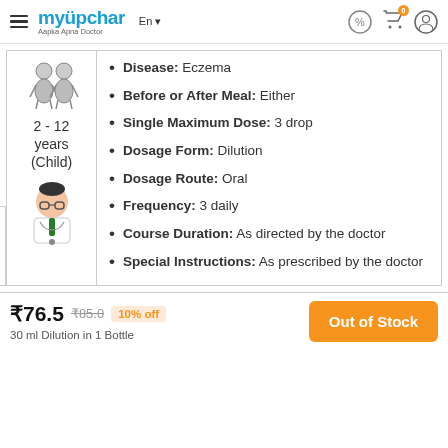myupchar — Aapka Apna Doctor | En | (icons)
[Figure (illustration): Two child figures icon above age range text]
2 - 12 years (Child)
Disease: Eczema
Before or After Meal: Either
Single Maximum Dose: 3 drop
Dosage Form: Dilution
Dosage Route: Oral
Frequency: 3 daily
Course Duration: As directed by the doctor
Special Instructions: As prescribed by the doctor
[Figure (illustration): Doctor avatar cartoon illustration]
Consultation
₹76.5  ₹85.0  10% off
30 ml Dilution in 1 Bottle
Out of Stock